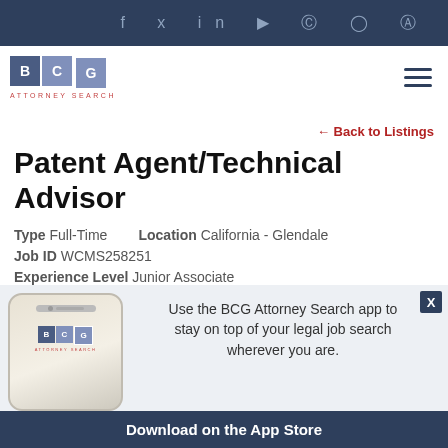BCG Attorney Search - Social media icons: f, twitter, in, youtube, pinterest, instagram, tiktok
[Figure (logo): BCG Attorney Search logo with colored squares B, C, G and text ATTORNEY SEARCH]
← Back to Listings
Patent Agent/Technical Advisor
Type Full-Time   Location California - Glendale
Job ID WCMS258251
Experience Level Junior Associate
[Figure (screenshot): App promotion banner showing BCG Attorney Search app on a smartphone, with text: Use the BCG Attorney Search app to stay on top of your legal job search wherever you are. Download on the App Store]